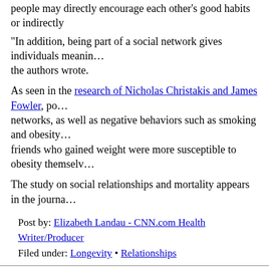people may directly encourage each other's good habits or indirectly
"In addition, being part of a social network gives individuals meaning the authors wrote.
As seen in the research of Nicholas Christakis and James Fowler, positive behaviors spread through networks, as well as negative behaviors such as smoking and obesity. People who had friends who gained weight were more susceptible to obesity themselves.
The study on social relationships and mortality appears in the journal
Post by: Elizabeth Landau - CNN.com Health Writer/Producer
Filed under: Longevity • Relationships
Next entry »Fewer complications at busiest bariatric centers
« Previous entryMusic may harm your studying, study says
soundoff (943 Responses)
Rv Repair Shop Near Me
This website definitely has all the info I needed concerning thi
http://www.wethink4u.com/__media__/js/netsoltrademark.php